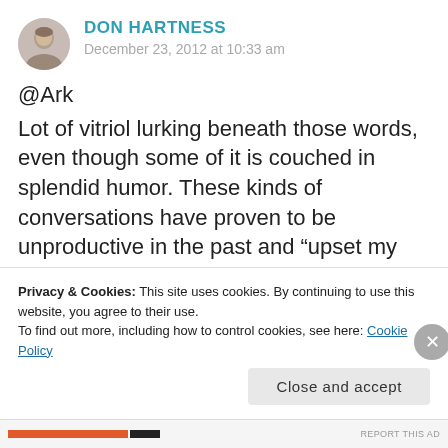[Figure (photo): Round avatar photo of a bald man]
DON HARTNESS
December 23, 2012 at 10:33 am
@Ark
Lot of vitriol lurking beneath those words, even though some of it is couched in splendid humor. These kinds of conversations have proven to be unproductive in the past and “upset my zen, man”. However, I’m feeling magnanimous this morning, so I’ll throw a bone.
Privacy & Cookies: This site uses cookies. By continuing to use this website, you agree to their use.
To find out more, including how to control cookies, see here: Cookie Policy
Close and accept